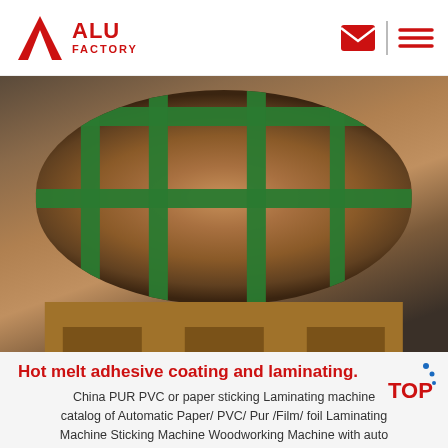ALU FACTORY
[Figure (photo): A large cardboard-wrapped roll/coil of material (likely aluminum) secured with green plastic strapping bands arranged vertically and horizontally, resting on a wooden pallet on a dark floor.]
Hot melt adhesive coating and laminating.
China PUR PVC or paper sticking Laminating machine catalog of Automatic Paper/ PVC/ Pur /Film/ foil Laminating Machine Sticking Machine Woodworking Machine with auto cutter/ feeding and loading/ auto turnover device. Wood Raw